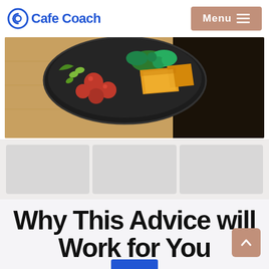Cafe Coach  Menu
[Figure (photo): Overhead photo of a dark bowl filled with colorful food including tomatoes, green vegetables, broccoli, and golden fried tofu, placed on a wooden surface against a dark background.]
[Figure (other): Row of blurred card thumbnails in a light gray section below the food photo.]
Why This Advice will Work for You